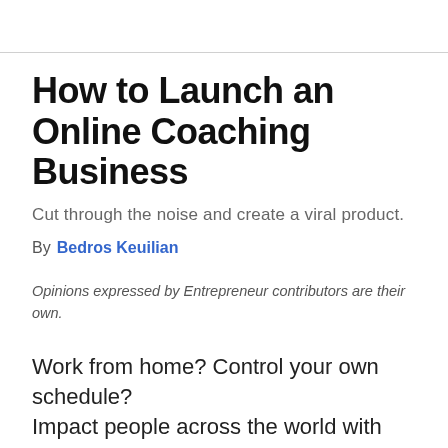How to Launch an Online Coaching Business
Cut through the noise and create a viral product.
By  Bedros Keuilian
Opinions expressed by Entrepreneur contributors are their own.
Work from home? Control your own schedule? Impact people across the world with your